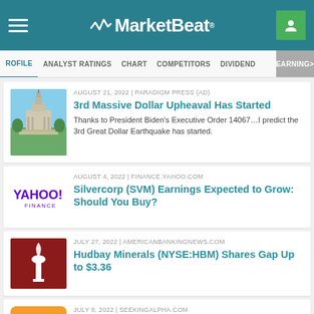MarketBeat
PROFILE  ANALYST RATINGS  CHART  COMPETITORS  DIVIDEND  EARNINGS>
AUGUST 21, 2022 | PARADIGM PRESS (AD)
3rd Massive Dollar Upheaval Has Started
Thanks to President Biden’s Executive Order 14067…I predict the 3rd Great Dollar Earthquake has started.
AUGUST 4, 2022 | FINANCE.YAHOO.COM
Silvercorp (SVM) Earnings Expected to Grow: Should You Buy?
JULY 27, 2022 | AMERICANBANKINGNEWS.COM
Hudbay Minerals (NYSE:HBM) Shares Gap Up to $3.36
JULY 8, 2022 | SEEKINGALPHA.COM